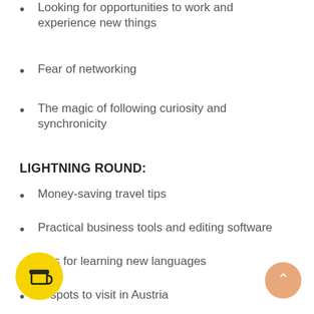Looking for opportunities to work and experience new things
Fear of networking
The magic of following curiosity and synchronicity
LIGHTNING ROUND:
Money-saving travel tips
Practical business tools and editing software
Tips for learning new languages
…st spots to visit in Austria
[Figure (illustration): Yellow circular button with a coffee cup icon]
[Figure (illustration): Orange circular button with an upward arrow]